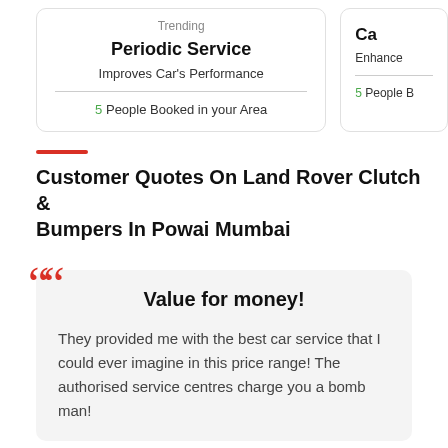Trending
Periodic Service
Improves Car's Performance
5 People Booked in your Area
Ca...
Enhance ...
5 People B...
Customer Quotes On Land Rover Clutch & Bumpers In Powai Mumbai
Value for money!
They provided me with the best car service that I could ever imagine in this price range! The authorised service centres charge you a bomb man!